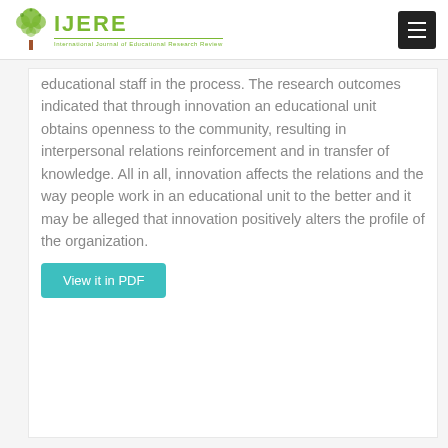IJERE — International Journal of Educational Research Review
educational staff in the process. The research outcomes indicated that through innovation an educational unit obtains openness to the community, resulting in interpersonal relations reinforcement and in transfer of knowledge. All in all, innovation affects the relations and the way people work in an educational unit to the better and it may be alleged that innovation positively alters the profile of the organization.
View it in PDF